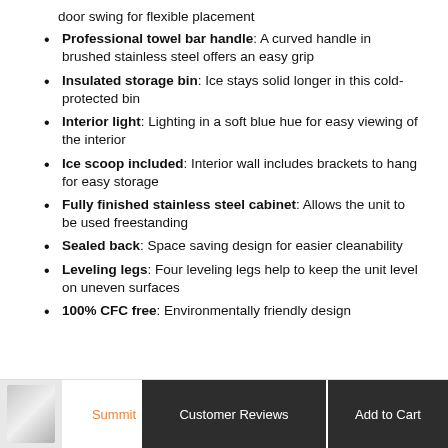door swing for flexible placement
Professional towel bar handle: A curved handle in brushed stainless steel offers an easy grip
Insulated storage bin: Ice stays solid longer in this cold-protected bin
Interior light: Lighting in a soft blue hue for easy viewing of the interior
Ice scoop included: Interior wall includes brackets to hang for easy storage
Fully finished stainless steel cabinet: Allows the unit to be used freestanding
Sealed back: Space saving design for easier cleanability
Leveling legs: Four leveling legs help to keep the unit level on uneven surfaces
100% CFC free: Environmentally friendly design
Summit | Customer Reviews | Add to Cart